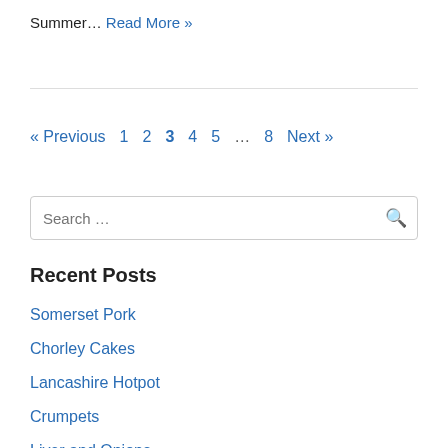Summer… Read More »
« Previous  1  2  3  4  5  …  8  Next »
Recent Posts
Somerset Pork
Chorley Cakes
Lancashire Hotpot
Crumpets
Liver and Onions